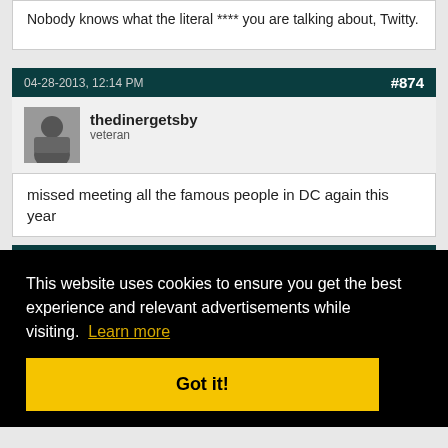Nobody knows what the literal **** you are talking about, Twitty.
04-28-2013, 12:14 PM
#874
thedinergetsby
veteran
missed meeting all the famous people in DC again this year
#875
This website uses cookies to ensure you get the best experience and relevant advertisements while visiting. Learn more
Got it!